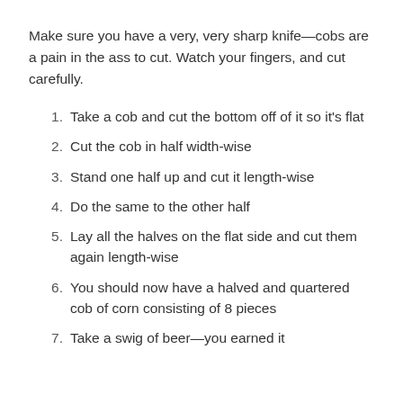Make sure you have a very, very sharp knife—cobs are a pain in the ass to cut. Watch your fingers, and cut carefully.
Take a cob and cut the bottom off of it so it's flat
Cut the cob in half width-wise
Stand one half up and cut it length-wise
Do the same to the other half
Lay all the halves on the flat side and cut them again length-wise
You should now have a halved and quartered cob of corn consisting of 8 pieces
Take a swig of beer—you earned it